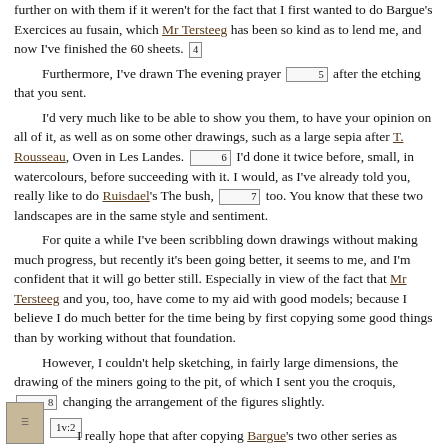further on with them if it weren't for the fact that I first wanted to do Bargue's Exercices au fusain, which Mr Tersteeg has been so kind as to lend me, and now I've finished the 60 sheets. [4] Furthermore, I've drawn The evening prayer [5] after the etching that you sent. I'd very much like to be able to show you them, to have your opinion on all of it, as well as on some other drawings, such as a large sepia after T. Rousseau, Oven in Les Landes. [6] I'd done it twice before, small, in watercolours, before succeeding with it. I would, as I've already told you, really like to do Ruisdael's The bush, [7] too. You know that these two landscapes are in the same style and sentiment. For quite a while I've been scribbling down drawings without making much progress, but recently it's been going better, it seems to me, and I'm confident that it will go better still. Especially in view of the fact that Mr Tersteeg and you, too, have come to my aid with good models; because I believe I do much better for the time being by first copying some good things than by working without that foundation. However, I couldn't help sketching, in fairly large dimensions, the drawing of the miners going to the pit, of which I sent you the croquis, [8] changing the arrangement of the figures slightly. [1v:2] I really hope that after copying Bargue's two other series as